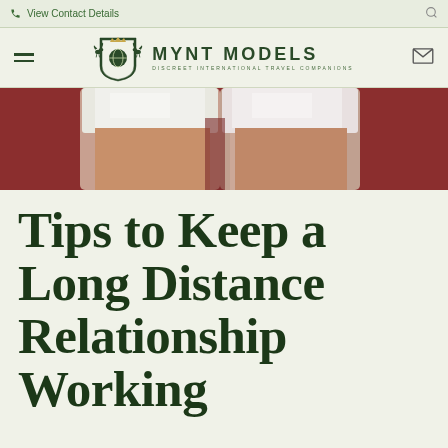View Contact Details
[Figure (logo): Mynt Models logo with crest/pegasus emblem and text MYNT MODELS DISCREET INTERNATIONAL TRAVEL COMPANIONS]
[Figure (photo): Close-up photo of two hands clasped together against a red/crimson background, wearing white sleeves]
Tips to Keep a Long Distance Relationship Working